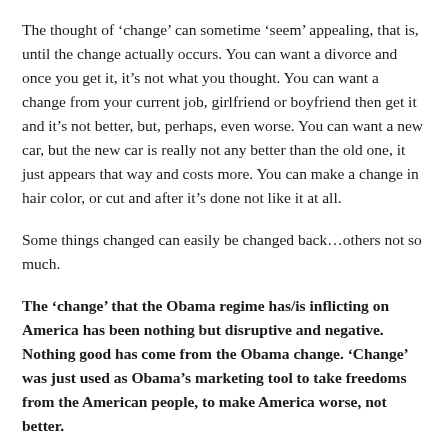The thought of 'change' can sometime 'seem' appealing, that is, until the change actually occurs. You can want a divorce and once you get it, it's not what you thought. You can want a change from your current job, girlfriend or boyfriend then get it and it's not better, but, perhaps, even worse. You can want a new car, but the new car is really not any better than the old one, it just appears that way and costs more. You can make a change in hair color, or cut and after it's done not like it at all.
Some things changed can easily be changed back…others not so much.
The 'change' that the Obama regime has/is inflicting on America has been nothing but disruptive and negative. Nothing good has come from the Obama change. 'Change' was just used as Obama's marketing tool to take freedoms from the American people, to make America worse, not better.